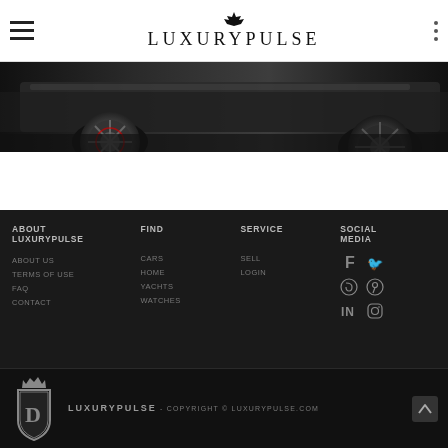LuxuryPulse navigation header
[Figure (photo): Close-up of a luxury sports car wheel and lower body, dark automotive photography]
ABOUT LUXURYPULSE
FIND
SERVICE
SOCIAL MEDIA
ABOUT US
TERMS OF USE
FAQ
CONTACT
CARS
HOME
YACHTS
WATCHES
SELL
LOGIN
LUXURYPULSE - COPYRIGHT © LUXURYPULSE.COM